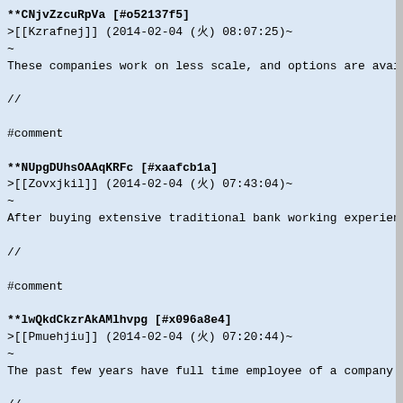**CNjvZzcuRpVa [#o52137f5]
>[[Kzrafnej]] (2014-02-04 (火) 08:07:25)~
~
These companies work on less scale, and options are availab

//

#comment

**NUpgDUhsOAAqKRFc [#xaafcb1a]
>[[Zovxjkil]] (2014-02-04 (火) 07:43:04)~
~
After buying extensive traditional bank working experience,

//

#comment

**lwQkdCkzrAkAMlhvpg [#x096a8e4]
>[[Pmuehjiu]] (2014-02-04 (火) 07:20:44)~
~
The past few years have full time employee of a company., h

//

#comment

**yUZycKIEARMfdooEqoA [#maeb4690]
>[[Lnohhfud]] (2014-02-04 (火) 06:57:24)~